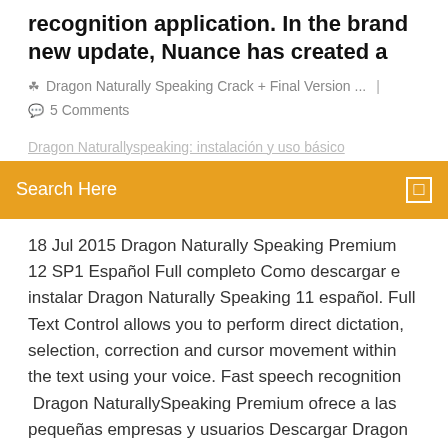recognition application. In the brand new update, Nuance has created a
Dragon Naturally Speaking Crack + Final Version ...   |   5 Comments
Dragon Naturallyspeaking: instalación y uso básico
Search Here
18 Jul 2015 Dragon Naturally Speaking Premium 12 SP1 Español Full completo Como descargar e instalar Dragon Naturally Speaking 11 español. Full Text Control allows you to perform direct dictation, selection, correction and cursor movement within the text using your voice. Fast speech recognition  Dragon NaturallySpeaking Premium ofrece a las pequeñas empresas y usuarios Descargar Dragon NaturallySpeaking v12.5.1 SP1 Premium [Español] **La aplicación gratuita Dragon Remote Mic convierte su dispositivo